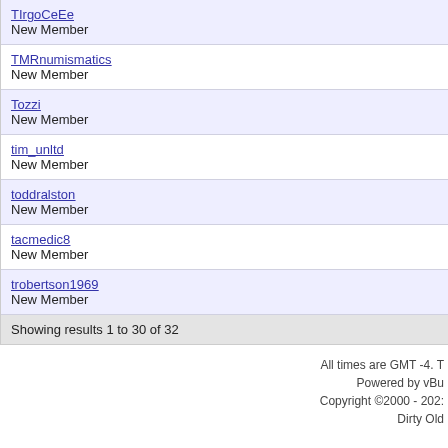TIrgoCeEe
New Member
TMRnumismatics
New Member
Tozzi
New Member
tim_unltd
New Member
toddralston
New Member
tacmedic8
New Member
trobertson1969
New Member
Showing results 1 to 30 of 32
All times are GMT -4. T
Powered by vBu
Copyright ©2000 - 202:
Dirty Old